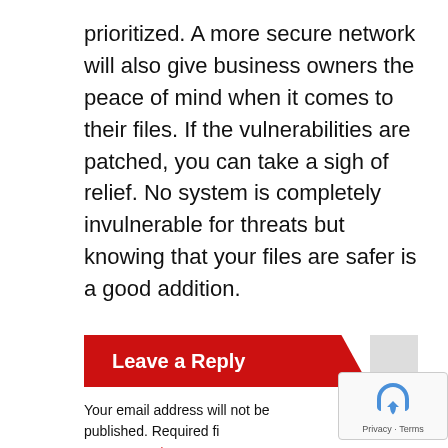prioritized. A more secure network will also give business owners the peace of mind when it comes to their files. If the vulnerabilities are patched, you can take a sigh of relief. No system is completely invulnerable for threats but knowing that your files are safer is a good addition.
Leave a Reply
Your email address will not be published. Required fields are marked *